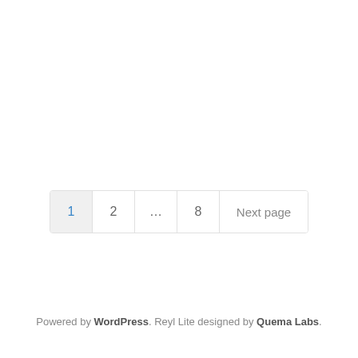1  2  ...  8  Next page
Powered by WordPress. Reyl Lite designed by Quema Labs.